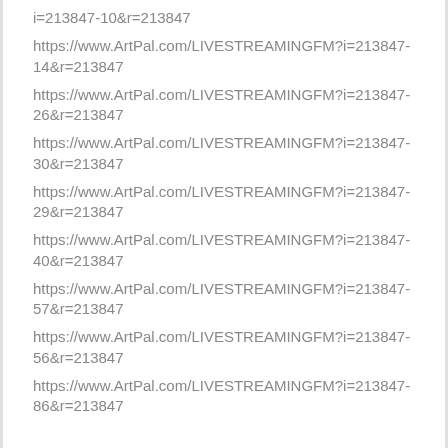i=213847-10&r=213847
https://www.ArtPal.com/LIVESTREAMINGFM?i=213847-14&r=213847
https://www.ArtPal.com/LIVESTREAMINGFM?i=213847-26&r=213847
https://www.ArtPal.com/LIVESTREAMINGFM?i=213847-30&r=213847
https://www.ArtPal.com/LIVESTREAMINGFM?i=213847-29&r=213847
https://www.ArtPal.com/LIVESTREAMINGFM?i=213847-40&r=213847
https://www.ArtPal.com/LIVESTREAMINGFM?i=213847-57&r=213847
https://www.ArtPal.com/LIVESTREAMINGFM?i=213847-56&r=213847
https://www.ArtPal.com/LIVESTREAMINGFM?i=213847-86&r=213847